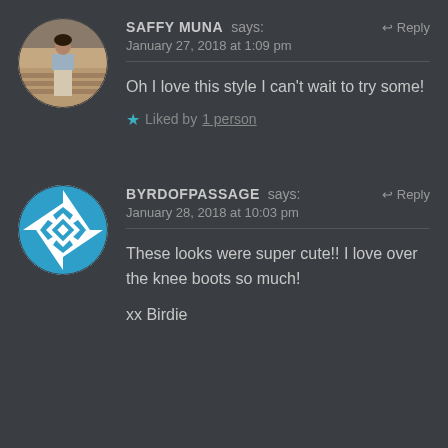[Figure (photo): Circular avatar photo of a person standing on steps, wearing a light outfit]
SAFFY MUNA says:
January 27, 2018 at 1:09 pm
Oh I love this style I can't wait to try some!
Liked by 1 person
[Figure (logo): Circular blue and white pinwheel/quilt pattern logo for byrdofpassage]
BYRDOFPASSAGE says:
January 28, 2018 at 10:03 pm
These looks were super cute!! I love over the knee boots so much!
xx Birdie